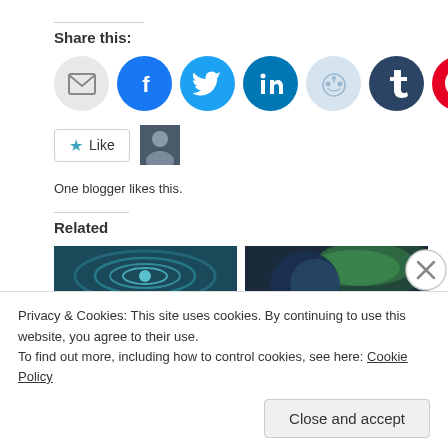Share this:
[Figure (infographic): Row of social share icon buttons: email (grey), Facebook (blue), Twitter (light blue), LinkedIn (dark teal), Reddit (light blue), Tumblr (dark navy), Pinterest (red)]
[Figure (infographic): Like button with star icon and avatar thumbnail of a blogger]
One blogger likes this.
Related
[Figure (photo): Two related article thumbnail images side by side - teal ripple pattern and aurora borealis over earth]
Advertisements
Privacy & Cookies: This site uses cookies. By continuing to use this website, you agree to their use.
To find out more, including how to control cookies, see here: Cookie Policy
Close and accept
Follow